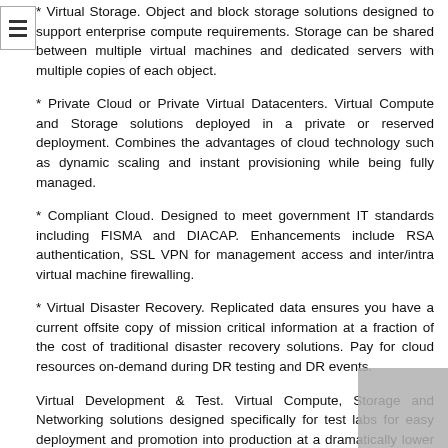* Virtual Storage. Object and block storage solutions designed to support enterprise compute requirements. Storage can be shared between multiple virtual machines and dedicated servers with multiple copies of each object.
* Private Cloud or Private Virtual Datacenters. Virtual Compute and Storage solutions deployed in a private or reserved deployment. Combines the advantages of cloud technology such as dynamic scaling and instant provisioning while being fully managed.
* Compliant Cloud. Designed to meet government IT standards including FISMA and DIACAP. Enhancements include RSA authentication, SSL VPN for management access and inter/intra virtual machine firewalling.
* Virtual Disaster Recovery. Replicated data ensures you have a current offsite copy of mission critical information at a fraction of the cost of traditional disaster recovery solutions. Pay for cloud resources on-demand during DR testing and DR events.
Virtual Development & Test. Virtual Compute, Storage and Networking solutions designed specifically for test labs for easy deployment and promotion into production at a dramatically lower price-point than deploying dedicated development and test lab environments.